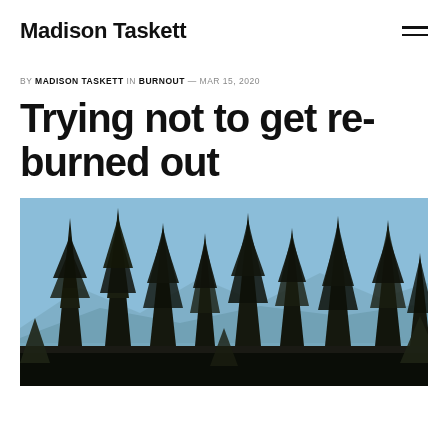Madison Taskett
BY MADISON TASKETT IN BURNOUT — MAR 15, 2020
Trying not to get re-burned out
[Figure (photo): Looking up at tall pine/fir trees against a blue sky with mountains visible in the background]